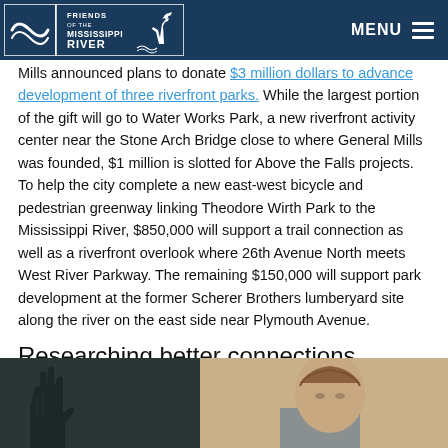Friends of the Mississippi River — MENU
Mills announced plans to donate $3 million dollars to advance development of three riverfront parks. While the largest portion of the gift will go to Water Works Park, a new riverfront activity center near the Stone Arch Bridge close to where General Mills was founded, $1 million is slotted for Above the Falls projects. To help the city complete a new east-west bicycle and pedestrian greenway linking Theodore Wirth Park to the Mississippi River, $850,000 will support a trail connection as well as a riverfront overlook where 26th Avenue North meets West River Parkway. The remaining $150,000 will support park development at the former Scherer Brothers lumberyard site along the river on the east side near Plymouth Avenue.
Researching better connections
[Figure (photo): Photograph of a person with a hand/artwork visible on the left side of the frame]